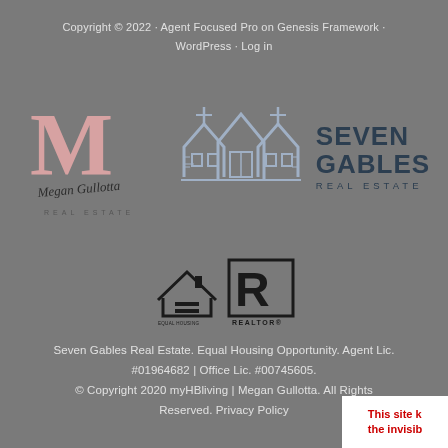Copyright © 2022 · Agent Focused Pro on Genesis Framework · WordPress · Log in
[Figure (logo): Megan Gullotta Real Estate logo with large pink M and script name]
[Figure (logo): Seven Gables house icon logo in light gray/blue outline style]
[Figure (logo): Seven Gables Real Estate text logo in dark navy]
[Figure (logo): Equal Housing Opportunity logo icon]
[Figure (logo): REALTOR logo icon]
Seven Gables Real Estate. Equal Housing Opportunity. Agent Lic. #01964682 | Office Lic. #00745605.
© Copyright 2020 myHBliving | Megan Gullotta. All Rights Reserved. Privacy Policy
This site k the invisib